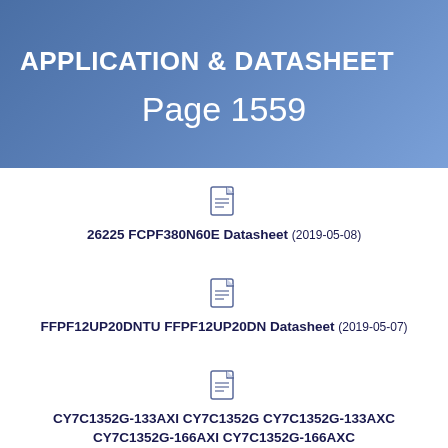APPLICATION & DATASHEET
Page 1559
[Figure (other): PDF document icon]
26225 FCPF380N60E Datasheet (2019-05-08)
[Figure (other): PDF document icon]
FFPF12UP20DNTU FFPF12UP20DN Datasheet (2019-05-07)
[Figure (other): PDF document icon]
CY7C1352G-133AXI CY7C1352G CY7C1352G-133AXC CY7C1352G-166AXI CY7C1352G-166AXC